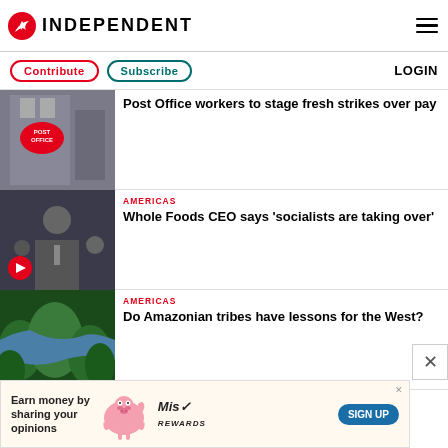INDEPENDENT
Contribute | Subscribe | LOGIN
[Figure (photo): Post Office sign on building exterior]
Post Office workers to stage fresh strikes over pay
AMERICAS
[Figure (photo): Man speaking at microphone with video play button overlay]
Whole Foods CEO says 'socialists are taking over'
AMERICAS
[Figure (photo): Aerial view of Amazonian rainforest and river]
Do Amazonian tribes have lessons for the West?
[Figure (infographic): Advertisement: Earn money by sharing your opinions - Mis Rewards Sign Up]